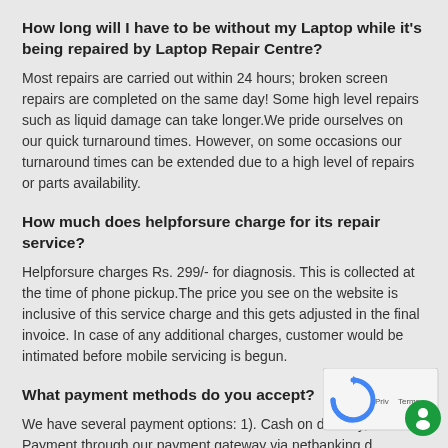How long will I have to be without my Laptop while it's being repaired by Laptop Repair Centre?
Most repairs are carried out within 24 hours; broken screen repairs are completed on the same day! Some high level repairs such as liquid damage can take longer.We pride ourselves on our quick turnaround times. However, on some occasions our turnaround times can be extended due to a high level of repairs or parts availability.
How much does helpforsure charge for its repair service?
Helpforsure charges Rs. 299/- for diagnosis. This is collected at the time of phone pickup.The price you see on the website is inclusive of this service charge and this gets adjusted in the final invoice. In case of any additional charges, customer would be intimated before mobile servicing is begun.
What payment methods do you accept?
We have several payment options: 1). Cash on delivery, Payment through our payment gateway via netbanking debit/credit card. 2). Paytm